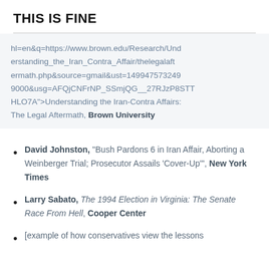THIS IS FINE
hl=en&q=https://www.brown.edu/Research/Understanding_the_Iran_Contra_Affair/thelegalaftermath.php&source=gmail&ust=1499475732499000&usg=AFQjCNFrNP_SSmjQG__27RJzP8STTHLO7A">Understanding the Iran-Contra Affairs: The Legal Aftermath, Brown University
David Johnston, “Bush Pardons 6 in Iran Affair, Aborting a Weinberger Trial; Prosecutor Assails ‘Cover-Up’”, New York Times
Larry Sabato, The 1994 Election in Virginia: The Senate Race From Hell, Cooper Center
[example of how conservatives view the lessons